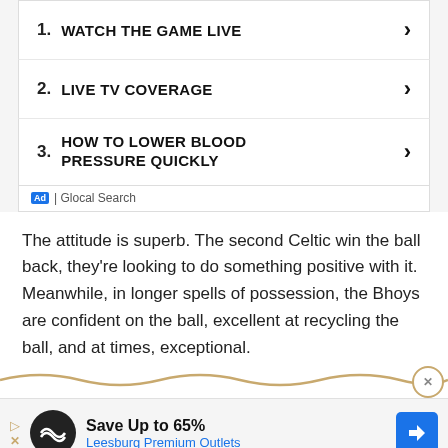1. WATCH THE GAME LIVE
2. LIVE TV COVERAGE
3. HOW TO LOWER BLOOD PRESSURE QUICKLY
Ad | Glocal Search
The attitude is superb. The second Celtic win the ball back, they're looking to do something positive with it. Meanwhile, in longer spells of possession, the Bhoys are confident on the ball, excellent at recycling the ball, and at times, exceptional.
[Figure (infographic): Bottom advertisement banner: Save Up to 65% Leesburg Premium Outlets with logo and arrow icon]